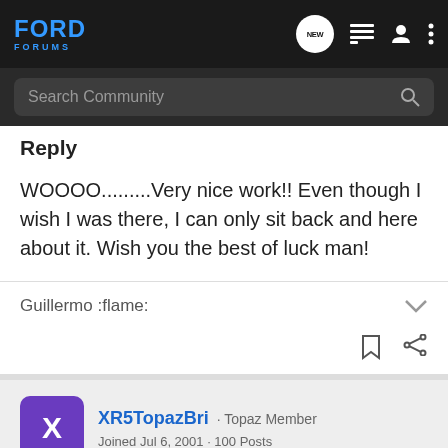FORD FORUMS
Reply
WOOOO.........Very nice work!! Even though I wish I was there, I can only sit back and here about it. Wish you the best of luck man!
Guillermo :flame:
XR5TopazBri · Topaz Member
Joined Jul 6, 2001 · 100 Posts
#3 · Aug 2, 2001